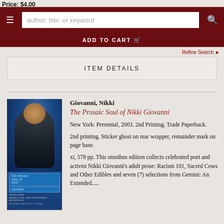Price: $4.00
author, title, or keyword | ADD TO CART | Refine Search
ITEM DETAILS
[Figure (photo): Book cover of The Prosaic Soul of Nikki Giovanni with author photo]
Giovanni, Nikki
The Prosaic Soul of Nikki Giovanni
New York: Perennial, 2003. 2nd Printing. Trade Paperback.
2nd printing. Sticker ghost on rear wrapper, remainder mark on page base.
xi, 578 pp. This omnibus edition collects celebrated poet and activist Nikki Giovanni's adult prose: Racism 101, Sacred Cows and Other Edibles and seven (7) selections from Gemini: An Extended.....